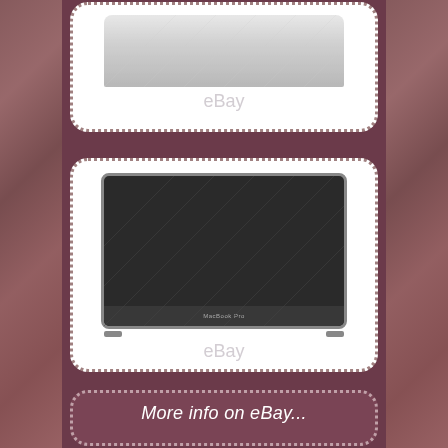[Figure (photo): Silver MacBook Pro lid/back viewed from rear - eBay listing photo with watermark]
[Figure (photo): MacBook Pro full display assembly closed view showing black screen from front - eBay listing photo with watermark]
More info on eBay...